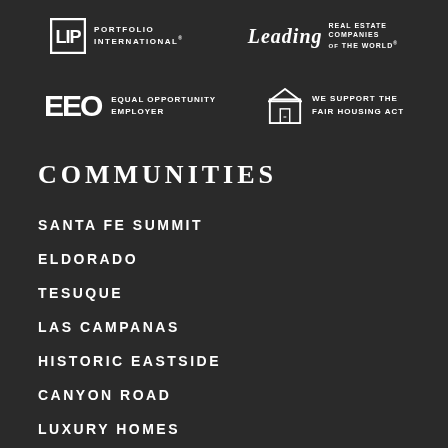[Figure (logo): LIP Portfolio International logo - white square bracket logo with text PORTFOLIO INTERNATIONAL]
[Figure (logo): Leading Real Estate Companies of the World logo - italic script Leading with text]
[Figure (logo): EEO Equal Opportunity Employer badge]
[Figure (logo): Fair Housing Act logo - house icon with WE SUPPORT THE FAIR HOUSING ACT text]
COMMUNITIES
SANTA FE SUMMIT
ELDORADO
TESUQUE
LAS CAMPANAS
HISTORIC EASTSIDE
CANYON ROAD
LUXURY HOMES